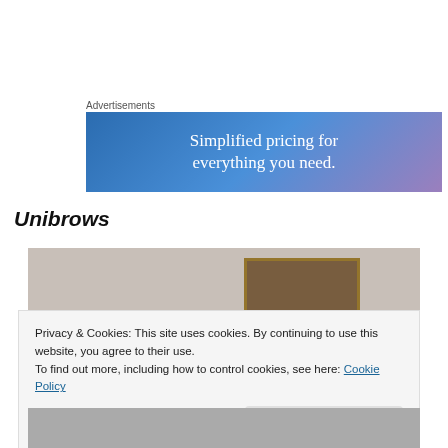Advertisements
[Figure (illustration): Advertisement banner with blue-purple gradient background and white text reading 'Simplified pricing for everything you need.']
Unibrows
[Figure (photo): Partial photo showing a wall with a framed picture/sign in background]
Privacy & Cookies: This site uses cookies. By continuing to use this website, you agree to their use.
To find out more, including how to control cookies, see here: Cookie Policy
Close and accept
[Figure (photo): Bottom portion of a photo, partially visible]